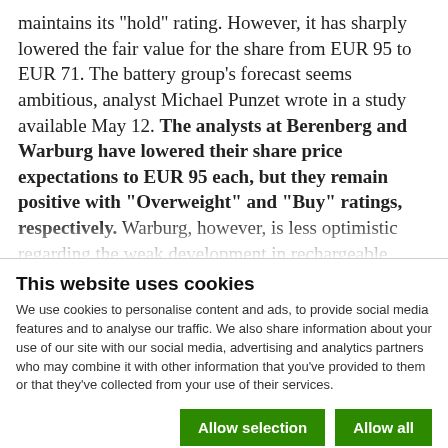maintains its "hold" rating. However, it has sharply lowered the fair value for the share from EUR 95 to EUR 71. The battery group's forecast seems ambitious, analyst Michael Punzet wrote in a study available May 12. The analysts at Berenberg and Warburg have lowered their share price expectations to EUR 95 each, but they remain positive with "Overweight" and "Buy" ratings, respectively. Warburg, however, is less optimistic regarding the weak development in rechargeable lithium-ion button cells and is reducing its sales estimates for the battery
This website uses cookies
We use cookies to personalise content and ads, to provide social media features and to analyse our traffic. We also share information about your use of our site with our social media, advertising and analytics partners who may combine it with other information that you've provided to them or that they've collected from your use of their services.